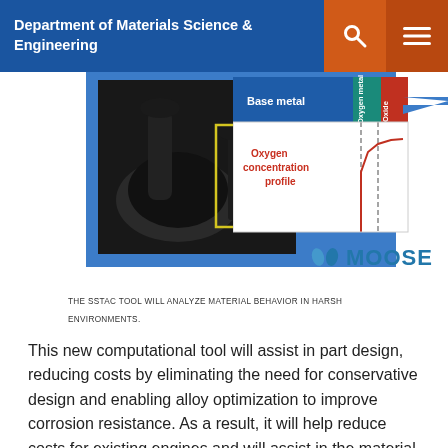Department of Materials Science & Engineering
[Figure (photo): Left: Dark metallic engine part (valve/seat assembly) shown as a physical specimen. Right: Diagram showing layers labelled 'Base metal', 'Oxygen metal', 'Oxide' with an arrow and 'Oxygen concentration profile' curve. MOOSE logo at bottom right.]
THE SSTAC TOOL WILL ANALYZE MATERIAL BEHAVIOR IN HARSH ENVIRONMENTS.
This new computational tool will assist in part design, reducing costs by eliminating the need for conservative design and enabling alloy optimization to improve corrosion resistance. As a result, it will help reduce costs for existing engines and will assist in the material and engine design for the engines of the future, reducing the